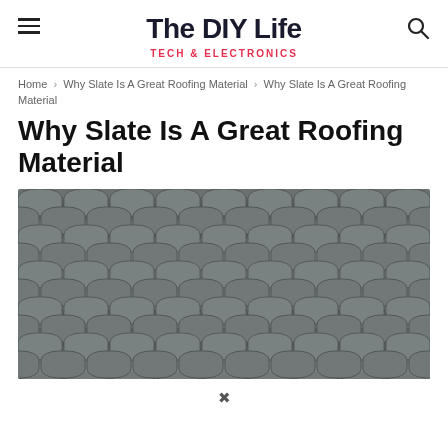The DIY Life — TECH & ELECTRONICS
Home › Why Slate Is A Great Roofing Material › Why Slate Is A Great Roofing Material
Why Slate Is A Great Roofing Material
[Figure (photo): Close-up photograph of overlapping grey slate roof tiles arranged in rows, showing the scalloped fish-scale pattern of the slate shingles.]